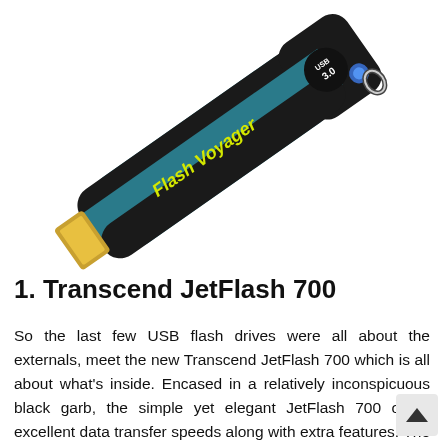[Figure (photo): A Corsair Flash Voyager USB 3.0 flash drive shown at an angle. The drive has a teal/blue rubber body with a black plastic casing. The label reads 'Flash Voyager' in yellow text and 'USB 3.0' on the black end cap. There is a blue LED indicator button and a white loop for a lanyard on the cap.]
1. Transcend JetFlash 700
So the last few USB flash drives were all about the externals, meet the new Transcend JetFlash 700 which is all about what's inside. Encased in a relatively inconspicuous black garb, the simple yet elegant JetFlash 700 offers excellent data transfer speeds along with extra features. The package includes data management and security software so there's no worries of unwanted people snooping a your data and your data can be backed up and synchronized easily. It's not particularly rugged or good looking either and the cap is